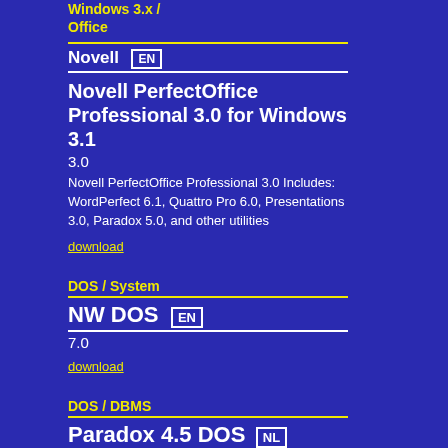Windows 3.x / Office
Novell
Novell PerfectOffice Professional 3.0 for Windows 3.1
3.0
Novell PerfectOffice Professional 3.0 Includes: WordPerfect 6.1, Quattro Pro 6.0, Presentations 3.0, Paradox 5.0, and other utilities
download
DOS / System
NW DOS
7.0
download
DOS / DBMS
Paradox 4.5 DOS